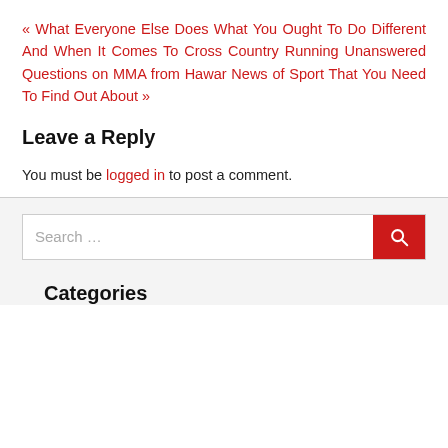« What Everyone Else Does What You Ought To Do Different And When It Comes To Cross Country Running Unanswered Questions on MMA from Hawar News of Sport That You Need To Find Out About »
Leave a Reply
You must be logged in to post a comment.
[Figure (other): Search bar with red search button]
Categories